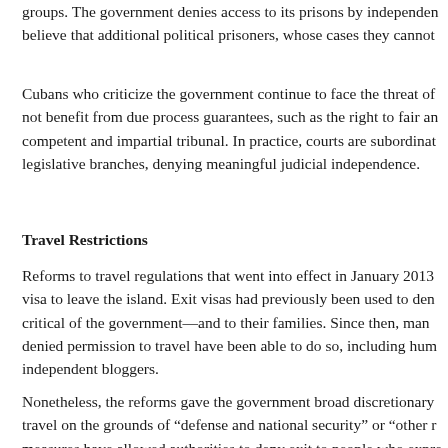groups. The government denies access to its prisons by independent groups. believe that additional political prisoners, whose cases they cannot
Cubans who criticize the government continue to face the threat of not benefit from due process guarantees, such as the right to fair and competent and impartial tribunal. In practice, courts are subordinate to the legislative branches, denying meaningful judicial independence.
Travel Restrictions
Reforms to travel regulations that went into effect in January 2013 visa to leave the island. Exit visas had previously been used to deny critical of the government—and to their families. Since then, many denied permission to travel have been able to do so, including human rights independent bloggers.
Nonetheless, the reforms gave the government broad discretionary travel on the grounds of “defense and national security” or “other measures have allowed authorities to deny exit to people who express